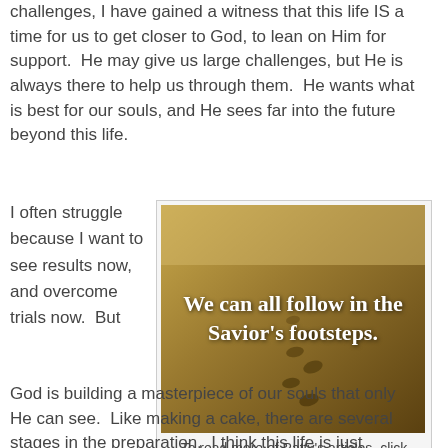challenges, I have gained a witness that this life IS a time for us to get closer to God, to lean on Him for support.  He may give us large challenges, but He is always there to help us through them.  He wants what is best for our souls, and He sees far into the future beyond this life.
I often struggle because I want to see results now, and overcome trials now.  But
[Figure (photo): Sepia-toned image of footsteps in sand with white text overlay reading: We can all follow in the Savior's footsteps.]
To read more of Patty's articles, click here.
God is building a masterpiece of our souls that only He can see.  Like making a cake, there are several stages in the preparation.  I think this life is just